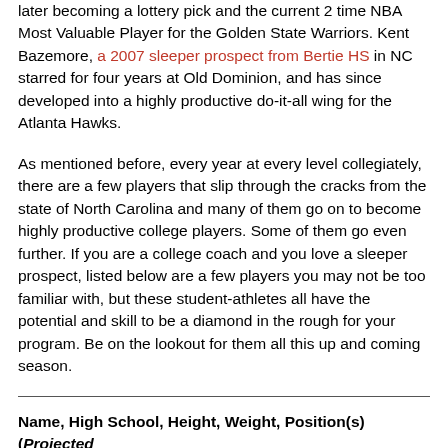later becoming a lottery pick and the current 2 time NBA Most Valuable Player for the Golden State Warriors. Kent Bazemore, a 2007 sleeper prospect from Bertie HS in NC starred for four years at Old Dominion, and has since developed into a highly productive do-it-all wing for the Atlanta Hawks.
As mentioned before, every year at every level collegiately, there are a few players that slip through the cracks from the state of North Carolina and many of them go on to become highly productive college players. Some of them go even further. If you are a college coach and you love a sleeper prospect, listed below are a few players you may not be too familiar with, but these student-athletes all have the potential and skill to be a diamond in the rough for your program. Be on the lookout for them all this up and coming season.
Name, High School, Height, Weight, Position(s) (Projected